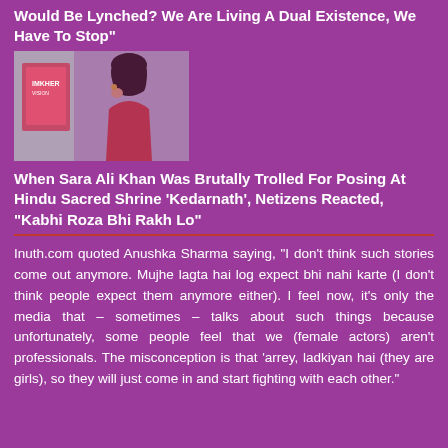Would Be Lynched? We Are Living A Dual Existence, We Have To Stop”
[Figure (photo): Photo of a young woman in a red outfit posing with hand near face, with a book/movie poster visible in the background]
When Sara Ali Khan Was Brutally Trolled For Posing At Hindu Sacred Shrine ‘Kedarnath’, Netizens Reacted, “Kabhi Roza Bhi Rakh Lo”
Inuth.com quoted Anushka Sharma saying, “I don’t think such stories come out anymore. Mujhe lagta hai log expect bhi nahi karte (I don't think people expect them anymore either). I feel now, it’s only the media that – sometimes – talks about such things because unfortunately, some people feel that we (female actors) aren't professionals. The misconception is that ‘arrey, ladkiyan hai (they are girls), so they will just come in and start fighting with each other.”